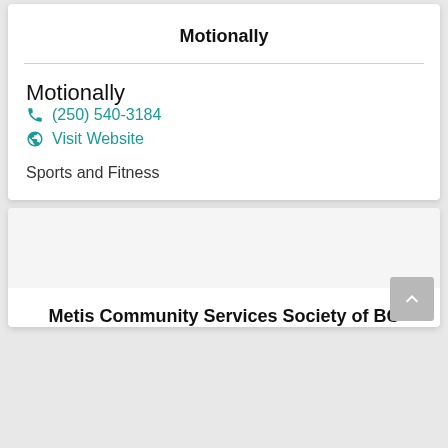Motionally
Motionally
(250) 540-3184
Visit Website
Sports and Fitness
Metis Community Services Society of BC